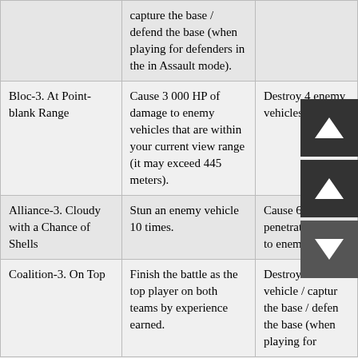|  | capture the base / defend the base (when playing for defenders in the in Assault mode). |  |
| Bloc-3. At Point-blank Range | Cause 3 000 HP of damage to enemy vehicles that are within your current view range (it may exceed 445 meters). | Destroy 4 enemy vehicles. |
| Alliance-3. Cloudy with a Chance of Shells | Stun an enemy vehicle 10 times. | Cause 6 armor-penetrating shots to enemy vehicles. |
| Coalition-3. On Top | Finish the battle as the top player on both teams by experience earned. | Destroy an enemy vehicle / capture the base / defend the base (when playing for... |